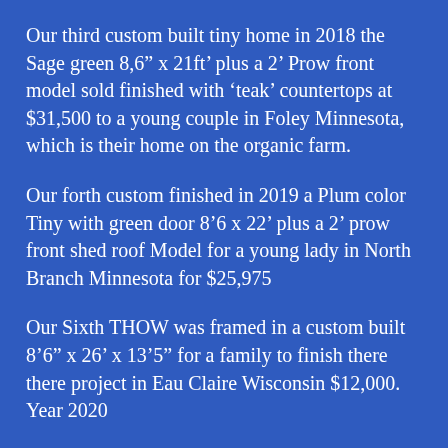Our third custom built tiny home in 2018 the Sage green 8,6" x 21ft' plus a 2' Prow front model sold finished with 'teak' countertops at $31,500 to a young couple in Foley Minnesota, which is their home on the organic farm.
Our forth custom finished in 2019 a Plum color Tiny with green door 8'6 x 22' plus a 2' prow front shed roof Model for a young lady in North Branch Minnesota for $25,975
Our Sixth THOW was framed in a custom built 8'6" x 26' x 13'5" for a family to finish there there project in Eau Claire Wisconsin $12,000. Year 2020
Our Seventh THOW 8'6"X 24' " Shell " which perhaps you have seen some of the pictures of. Now it's a two